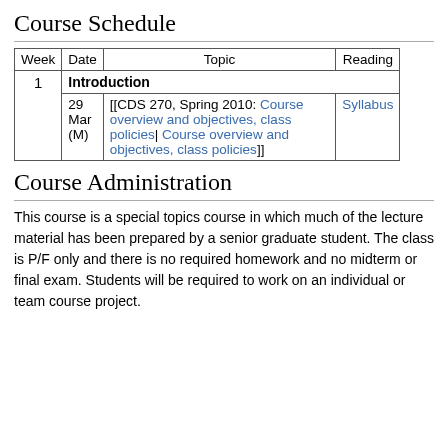Course Schedule
| Week | Date | Topic | Reading |
| --- | --- | --- | --- |
|  |  | Introduction |  |
| 1 | 29 Mar (M) | [[CDS 270, Spring 2010: Course overview and objectives, class policies| Course overview and objectives, class policies]] | Syllabus |
Course Administration
This course is a special topics course in which much of the lecture material has been prepared by a senior graduate student. The class is P/F only and there is no required homework and no midterm or final exam. Students will be required to work on an individual or team course project.